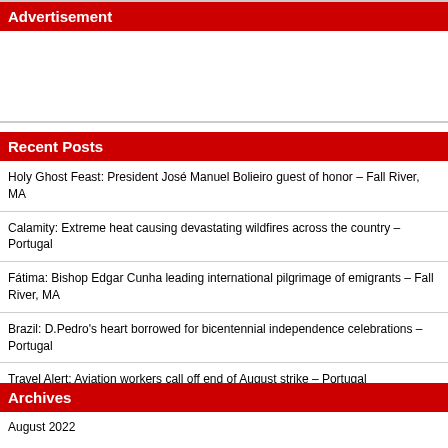Advertisement
Recent Posts
Holy Ghost Feast: President José Manuel Bolieiro guest of honor – Fall River, MA
Calamity: Extreme heat causing devastating wildfires across the country – Portugal
Fátima: Bishop Edgar Cunha leading international pilgrimage of emigrants – Fall River, MA
Brazil: D.Pedro's heart borrowed for bicentennial independence celebrations – Portugal
Travel Alert: Aviation workers call off end of August strike – Portugal
Archives
August 2022